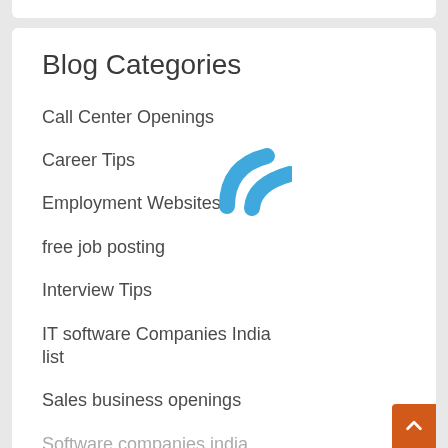Blog Categories
Call Center Openings
Career Tips
Employment Websites
free job posting
Interview Tips
IT software Companies India list
Sales business openings
Software companies india